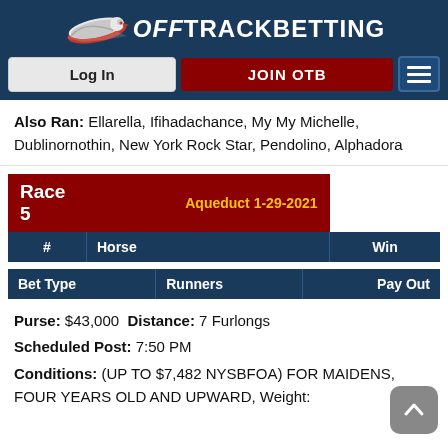OffTrackBetting — Log In | JOIN OTB
Also Ran: Ellarella, Ifihadachance, My My Michelle, Dublinornothin, New York Rock Star, Pendolino, Alphadora
| Race 5 | Aqueduct 1-29-2021 |
| --- | --- |
| # | Horse | Win |
| Bet Type | Runners | Pay Out |
| --- | --- | --- |
Purse: $43,000 Distance: 7 Furlongs
Scheduled Post: 7:50 PM
Conditions: (UP TO $7,482 NYSBFOA) FOR MAIDENS, FOUR YEARS OLD AND UPWARD, Weight: